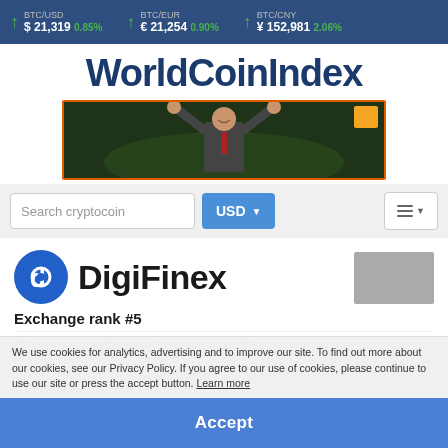BTC/USD $ 21,319 0.85%   BTC/EUR € 21,254 0.90%   BTC/CNY ¥ 152,981 2.06%
WorldCoinIndex
[Figure (photo): Advertisement banner showing a person in a suit with arms raised in celebration against a dark green background, with an orange badge in the top right corner.]
Search cryptocoin   USD
[Figure (logo): DigiFinex logo - blue circle with white 'd' letter inside]
DigiFinex
Exchange rank #5
We use cookies for analytics, advertising and to improve our site. To find out more about our cookies, see our Privacy Policy. If you agree to our use of cookies, please continue to use our site or press the accept button. Learn more
Accept